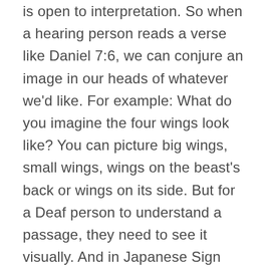is open to interpretation. So when a hearing person reads a verse like Daniel 7:6, we can conjure an image in our heads of whatever we'd like. For example: What do you imagine the four wings look like? You can picture big wings, small wings, wings on the beast's back or wings on its side. But for a Deaf person to understand a passage, they need to see it visually. And in Japanese Sign Language, there isn't just one way to say “wings” like there is in the English written language. There are specific, different signs to say “wings on the back” or “wings on the side” or “big wings.” Context is everything.